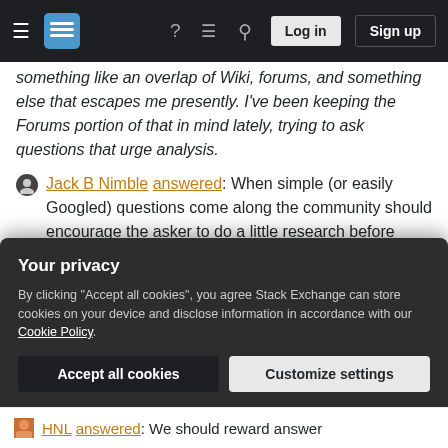Stack Exchange navigation bar with hamburger menu, logo, help, chat, search icons, Login and Sign up buttons
something like an overlap of Wiki, forums, and something else that escapes me presently. I've been keeping the Forums portion of that in mind lately, trying to ask questions that urge analysis.
Jack B Nimble answered: When simple (or easily Googled) questions come along the community should encourage the asker to do a little research before jumping into a question.
Beofett answered: Simple answers that receive votes are indicative that they are interesting to a
Your privacy
By clicking "Accept all cookies", you agree Stack Exchange can store cookies on your device and disclose information in accordance with our Cookie Policy.
Accept all cookies   Customize settings
HNL answered: We should reward answer